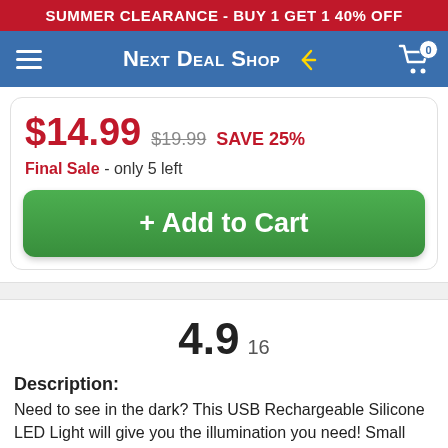SUMMER CLEARANCE - BUY 1 GET 1 40% OFF
[Figure (logo): Next Deal Shop navigation bar with hamburger menu, logo and cart icon showing 0 items]
$14.99  $19.99  SAVE 25%
Final Sale - only 5 left
+ Add to Cart
4.9  16
Description:
Need to see in the dark? This USB Rechargeable Silicone LED Light will give you the illumination you need! Small and portable, it'll come in handy as an emergency light while camping or traveling. You can also hang it anywhere in your home or office to light up all the dark corners. To recharge, simply stick it into a power source with the